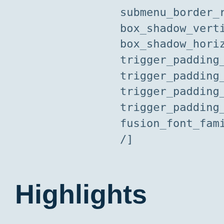submenu_border_radius
box_shadow_vertical="2
box_shadow_horizontal=
trigger_padding_top=""
trigger_padding_right=""
trigger_padding_bottom
trigger_padding_left=""
fusion_font_family_mob
/]
Highlights